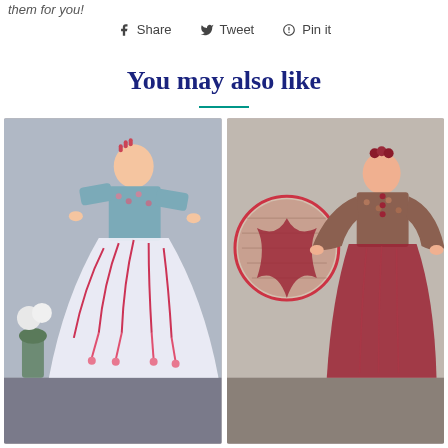them for you!
Share   Tweet   Pin it
You may also like
[Figure (photo): Child wearing a Chinese traditional blue floral hanfu dress with white tulle skirt and pink tassels, standing next to a plant]
[Figure (photo): Child wearing a Chinese traditional dark red floral hanfu outfit with wide sleeves, showing front and side view]